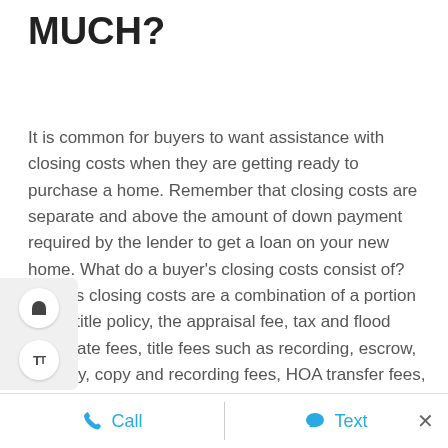MUCH?
It is common for buyers to want assistance with closing costs when they are getting ready to purchase a home. Remember that closing costs are separate and above the amount of down payment required by the lender to get a loan on your new home. What do a buyer's closing costs consist of? Buyer's closing costs are a combination of a portion of the title policy, the appraisal fee, tax and flood certificate fees, title fees such as recording, escrow, delivery, copy and recording fees, HOA transfer fees, and possibly a few other negotiable fees such as the cost of a survey.
Closing costs are also different than prepaid items. Prepaid
Call   Text